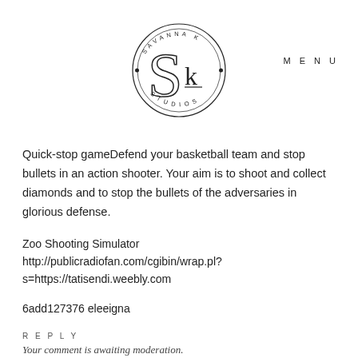[Figure (logo): Savanna K Studios circular logo with stylized SK letters in the center]
MENU
Quick-stop gameDefend your basketball team and stop bullets in an action shooter. Your aim is to shoot and collect diamonds and to stop the bullets of the adversaries in glorious defense.
Zoo Shooting Simulator
http://publicradiofan.com/cgibin/wrap.pl?s=https://tatisendi.weebly.com
6add127376 eleeigna
REPLY
Your comment is awaiting moderation.